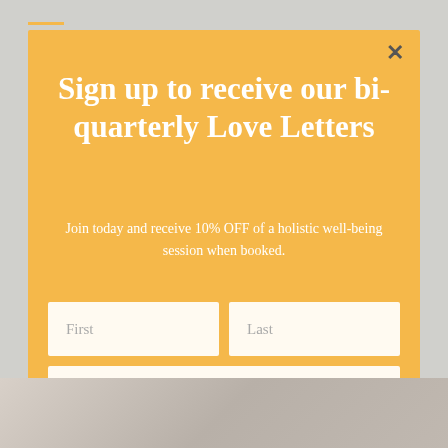Sign up to receive our bi-quarterly Love Letters
Join today and receive 10% OFF of a holistic well-being session when booked.
First
Last
Email Address
Subscribe